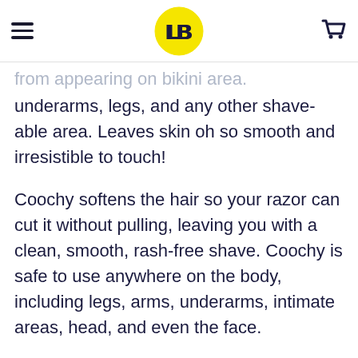[hamburger menu] [LB logo] [cart icon]
from appearing on bikini area.
underarms, legs, and any other shave-able area. Leaves skin oh so smooth and irresistible to touch!
Coochy softens the hair so your razor can cut it without pulling, leaving you with a clean, smooth, rash-free shave. Coochy is safe to use anywhere on the body, including legs, arms, underarms, intimate areas, head, and even the face.
Seven scents to choose from. So much scented goodness. Find your favorite formula using